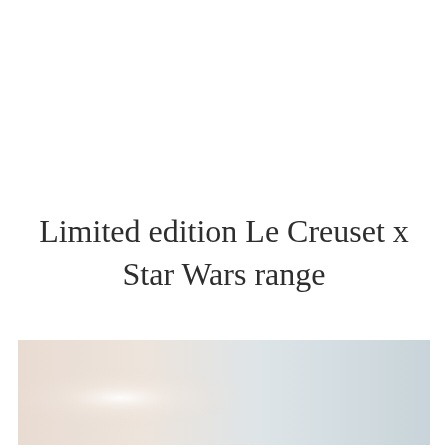Limited edition Le Creuset x Star Wars range
[Figure (photo): A gradient background image transitioning from warm beige/cream on the left with a subtle light flare, to cool light blue-grey on the right — likely a marketing/atmospheric background for the Le Creuset x Star Wars product range.]